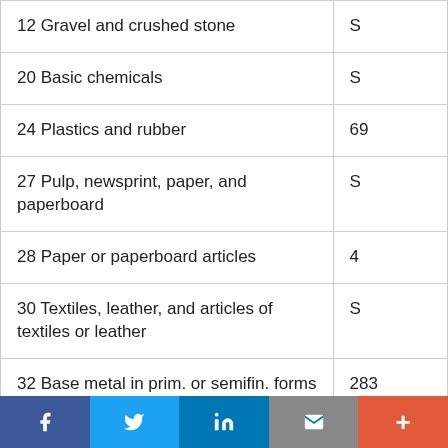| 12 Gravel and crushed stone | S |
| 20 Basic chemicals | S |
| 24 Plastics and rubber | 69 |
| 27 Pulp, newsprint, paper, and paperboard | S |
| 28 Paper or paperboard articles | 4 |
| 30 Textiles, leather, and articles of textiles or leather | S |
| 32 Base metal in prim. or semifin. forms & in finished basic shapes | 283 |
| 33 Articles of base metal | S |